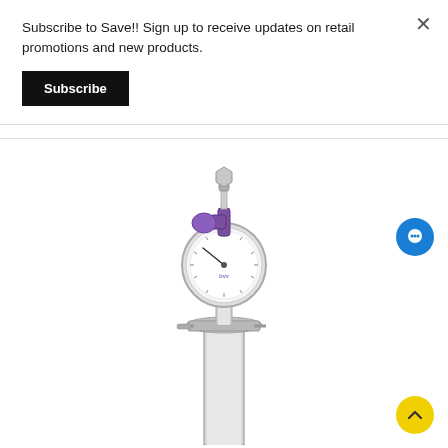Subscribe to Save!! Sign up to receive updates on retail promotions and new products.
[Figure (other): Black 'Subscribe' button]
[Figure (photo): A stainless steel pressure gauge assembly with purple fittings on a tall cylindrical tube, showing a round analog pressure gauge with 'bvv' branding, mounted on a tri-clamp flange.]
[Figure (other): Blue circular chat/messenger icon button in the lower right of the product image area]
[Figure (other): Yellow circular scroll-to-top arrow button in the bottom right corner]